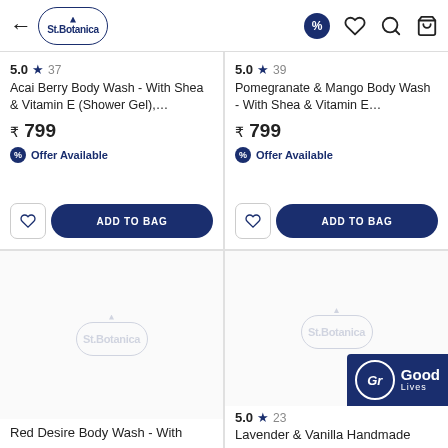St.Botanica — back, percent offer icon, heart, search, bag
5.0 ★ 37
Acai Berry Body Wash - With Shea & Vitamin E (Shower Gel),…
₹ 799
Offer Available
ADD TO BAG
5.0 ★ 39
Pomegranate & Mango Body Wash - With Shea & Vitamin E...
₹ 799
Offer Available
ADD TO BAG
[Figure (photo): Product image placeholder with St.Botanica watermark logo]
Red Desire Body Wash - With
[Figure (photo): Product image placeholder with St.Botanica watermark logo and Good Lives badge]
5.0 ★ 23
Lavender & Vanilla Handmade